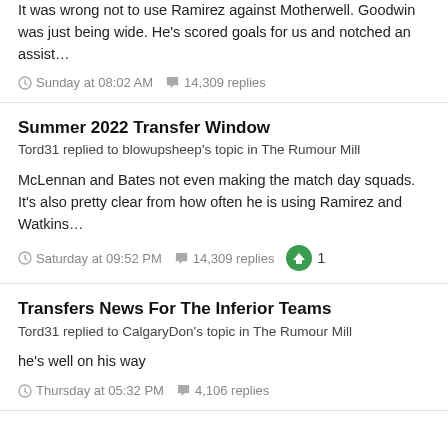It was wrong not to use Ramirez against Motherwell. Goodwin was just being wide. He's scored goals for us and notched an assist…
Sunday at 08:02 AM   14,309 replies
Summer 2022 Transfer Window
Tord31 replied to blowupsheep's topic in The Rumour Mill
McLennan and Bates not even making the match day squads. It's also pretty clear from how often he is using Ramirez and Watkins…
Saturday at 09:52 PM   14,309 replies   1
Transfers News For The Inferior Teams
Tord31 replied to CalgaryDon's topic in The Rumour Mill
he's well on his way
Thursday at 05:32 PM   4,106 replies